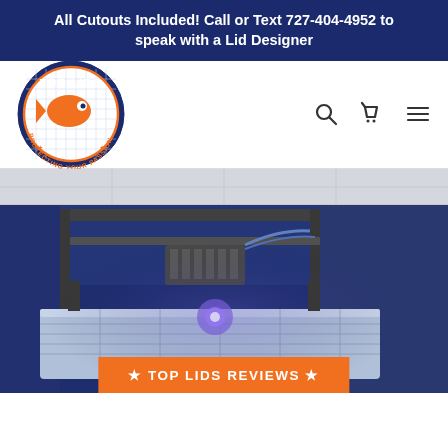All Cutouts Included! Call or Text 727-404-4952 to speak with a Lid Designer
[Figure (logo): Top Lids logo — circular badge with orange fish and text 'TOP LIDS' and 'PROTECTING YOUR PASSION']
[Figure (photo): CNC machine in a dark blue room engraving or cutting a lid/panel with a purple laser/light glow]
★ TOP LIDS REVIEWS ★